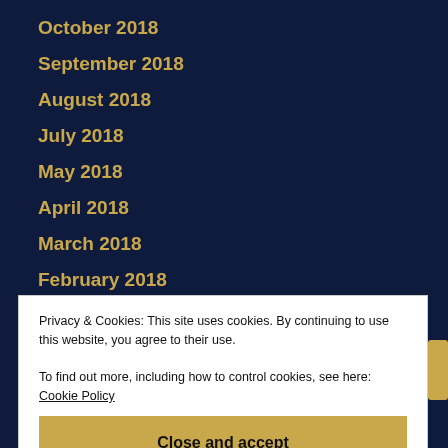October 2018
September 2018
August 2018
July 2018
May 2018
April 2018
March 2018
February 2018
January 2018
December 2017
November 2017
Privacy & Cookies: This site uses cookies. By continuing to use this website, you agree to their use.
To find out more, including how to control cookies, see here: Cookie Policy
Close and accept